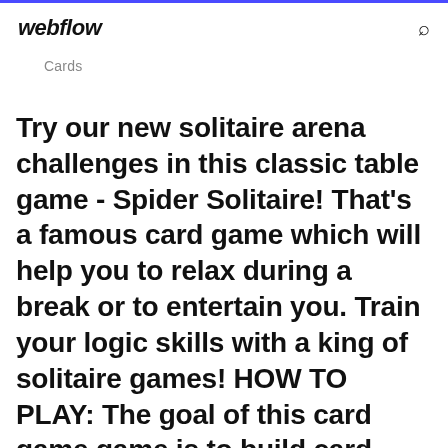webflow
Cards
Try our new solitaire arena challenges in this classic table game - Spider Solitaire! That's a famous card game which will help you to relax during a break or to entertain you. Train your logic skills with a king of solitaire games! HOW TO PLAY: The goal of this card game game is to build card column of descending suit sequence from King to Ace.